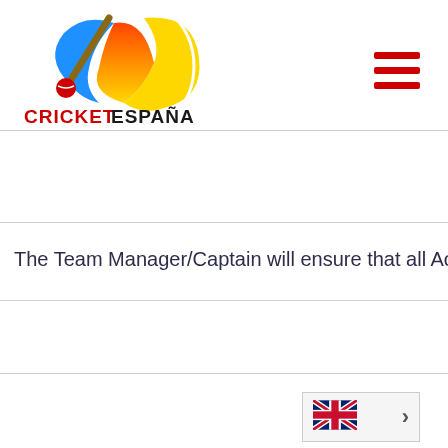[Figure (logo): Cricket España logo with colorful cricket bat and ball design, text reads CRICKETESPAÑA]
The Team Manager/Captain will ensure that all Ac